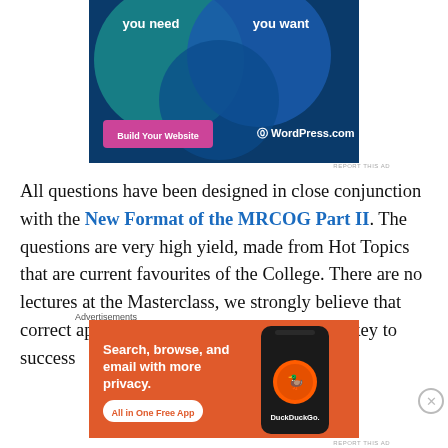[Figure (screenshot): WordPress.com advertisement banner showing 'you need' and 'you want' text with overlapping circles, a pink 'Build Your Website' button, and WordPress.com logo.]
REPORT THIS AD
All questions have been designed in close conjunction with the New Format of the MRCOG Part II. The questions are very high yield, made from Hot Topics that are current favourites of the College. There are no lectures at the Masterclass, we strongly believe that correct application of your knowledge is the key to success
Advertisements
[Figure (screenshot): DuckDuckGo advertisement: orange background with white text 'Search, browse, and email with more privacy. All in One Free App' with a phone showing the DuckDuckGo app.]
REPORT THIS AD